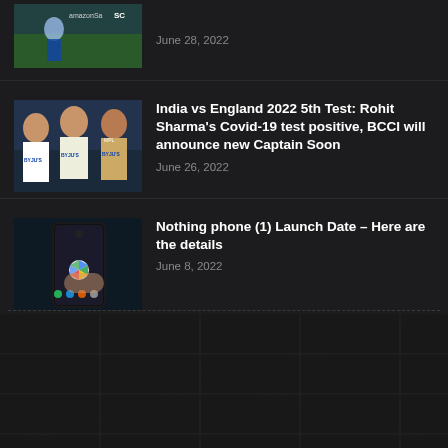[Figure (photo): Cricket player photo (partial, top of page) - India cricket match with AmazonSa branding visible]
June 28, 2022
[Figure (photo): Three Indian cricket players including Virat Kohli, Rohit Sharma and Rishabh Pant in BYJU's jerseys]
India vs England 2022 5th Test: Rohit Sharma's Covid-19 test positive, BCCI will announce new Captain Soon
June 26, 2022
[Figure (photo): Hand holding Nothing Phone (1) displaying Google Photos app]
Nothing phone (1) Launch Date – Here are the details
June 8, 2022